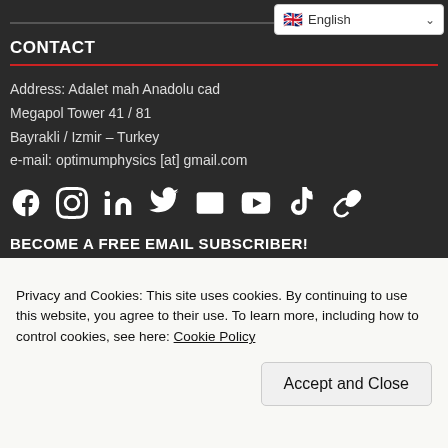[Figure (screenshot): Language selector dropdown showing English with flag icon]
CONTACT
Address: Adalet mah Anadolu cad
Megapol Tower 41 / 81
Bayrakli / Izmir – Turkey
e-mail: optimumphysics [at] gmail.com
[Figure (infographic): Social media icons: Facebook, Instagram, LinkedIn, Twitter, Email, YouTube, TikTok, Link]
BECOME A FREE EMAIL SUBSCRIBER!
[Figure (screenshot): Email subscription input field and SUBSCRIBE button]
Privacy and Cookies: This site uses cookies. By continuing to use this website, you agree to their use. To learn more, including how to control cookies, see here: Cookie Policy